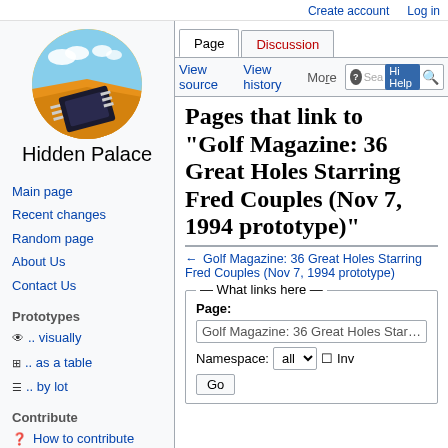Create account  Log in
[Figure (logo): Hidden Palace circular logo with blue sky, desert landscape and a microchip]
Hidden Palace
Main page
Recent changes
Random page
About Us
Contact Us
Prototypes
👁 .. visually
⊞ .. as a table
☰ .. by lot
Contribute
❓ How to contribute
+ Add a prototype
Pages that link to "Golf Magazine: 36 Great Holes Starring Fred Couples (Nov 7, 1994 prototype)"
← Golf Magazine: 36 Great Holes Starring Fred Couples (Nov 7, 1994 prototype)
What links here
Page:
Golf Magazine: 36 Great Holes Starring Fre...
Namespace: all  □ Inv...
Go